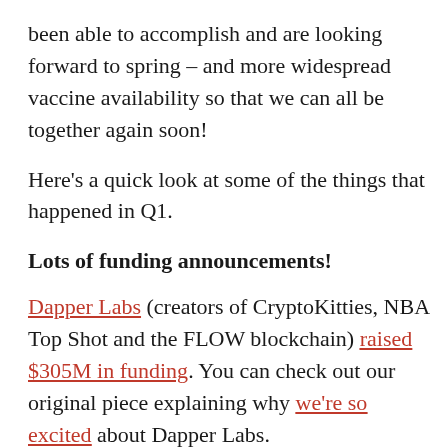been able to accomplish and are looking forward to spring – and more widespread vaccine availability so that we can all be together again soon!
Here's a quick look at some of the things that happened in Q1.
Lots of funding announcements!
Dapper Labs (creators of CryptoKitties, NBA Top Shot and the FLOW blockchain) raised $305M in funding. You can check out our original piece explaining why we're so excited about Dapper Labs.
SuperRare, an NFT Art marketplace, raised a $9M